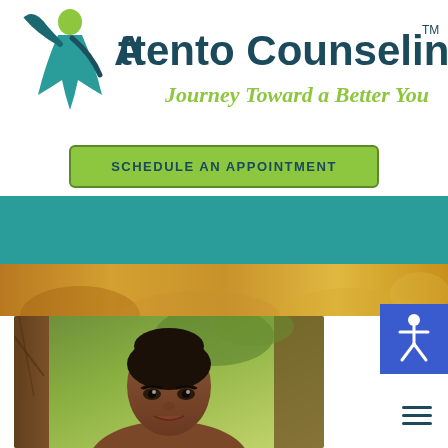[Figure (logo): Attento Counseling logo with a stylized green and teal figure, text 'Attento Counseling TM' and tagline 'Journey Toward a Better You']
SCHEDULE AN APPOINTMENT
[Figure (photo): Teal navigation bar with hamburger menu icon on the right]
[Figure (photo): Golden/warm nature background strip]
[Figure (photo): Portrait photo of a woman with dark hair pulled back, photographed outdoors near a tree]
[Figure (infographic): Blue accessibility/wheelchair icon button in the bottom right corner]